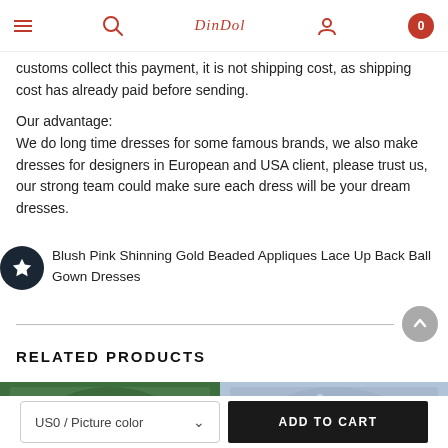Navigation bar with menu, search, logo, user and cart (0) icons
customs collect this payment, it is not shipping cost, as shipping cost has already paid before sending.
Our advantage:
We do long time dresses for some famous brands, we also make dresses for designers in European and USA client, please trust us, our strong team could make sure each dress will be your dream dresses.
Blush Pink Shinning Gold Beaded Appliques Lace Up Back Ball Gown Dresses
RELATED PRODUCTS
[Figure (photo): Two product images at bottom: left shows a dark green floral gown, right shows a light blue/silver beaded gown]
US0 / Picture color
ADD TO CART